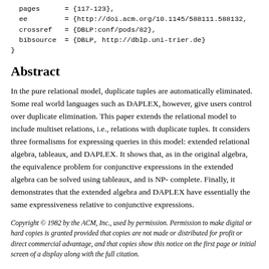pages      = {117-123},
  ee         = {http://doi.acm.org/10.1145/588111.588132,
  crossref   = {DBLP:conf/pods/82},
  bibsource  = {DBLP, http://dblp.uni-trier.de}
}
Abstract
In the pure relational model, duplicate tuples are automatically eliminated. Some real world languages such as DAPLEX, however, give users control over duplicate elimination. This paper extends the relational model to include multiset relations, i.e., relations with duplicate tuples. It considers three formalisms for expressing queries in this model: extended relational algebra, tableaux, and DAPLEX. It shows that, as in the original algebra, the equivalence problem for conjunctive expressions in the extended algebra can be solved using tableaux, and is NP-complete. Finally, it demonstrates that the extended algebra and DAPLEX have essentially the same expressiveness relative to conjunctive expressions.
Copyright © 1982 by the ACM, Inc., used by permission. Permission to make digital or hard copies is granted provided that copies are not made or distributed for profit or direct commercial advantage, and that copies show this notice on the first page or initial screen of a display along with the full citation.